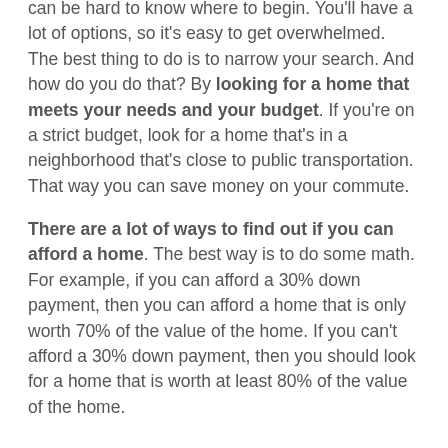can be hard to know where to begin. You'll have a lot of options, so it's easy to get overwhelmed. The best thing to do is to narrow your search. And how do you do that? By looking for a home that meets your needs and your budget. If you're on a strict budget, look for a home that's in a neighborhood that's close to public transportation. That way you can save money on your commute.
There are a lot of ways to find out if you can afford a home. The best way is to do some math. For example, if you can afford a 30% down payment, then you can afford a home that is only worth 70% of the value of the home. If you can't afford a 30% down payment, then you should look for a home that is worth at least 80% of the value of the home.